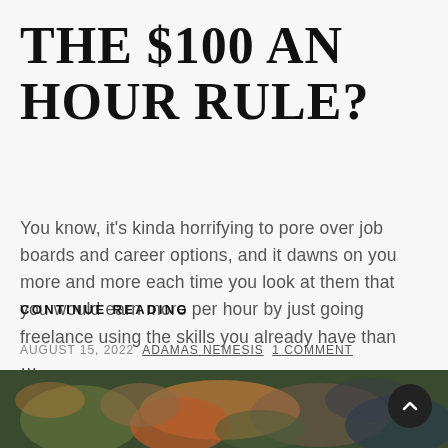The $100 an hour rule?
You know, it's kinda horrifying to pore over job boards and career options, and it dawns on you more and more each time you look at them that you would earn more per hour by just going freelance using the skills you already have than …
CONTINUE READING
AUGUST 15, 2022  ADAMAS NEMESIS  1 COMMENT
[Figure (photo): A dark painting strip at the bottom of the page showing abstract floral or landscape imagery with warm orange and muted green and brown tones.]